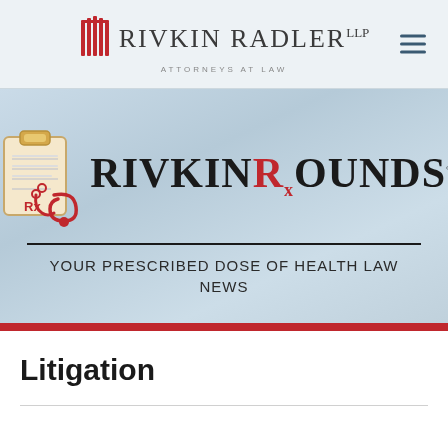[Figure (logo): Rivkin Radler LLP Attorneys at Law logo with navigation hamburger menu in a light grey header bar]
[Figure (logo): Rivkin Rounds banner — clipboard with stethoscope illustration, RIVKIN ROUNDS wordmark with red R subscript x, tagline: YOUR PRESCRIBED DOSE OF HEALTH LAW NEWS, on light blue gradient background with red bottom bar]
Litigation